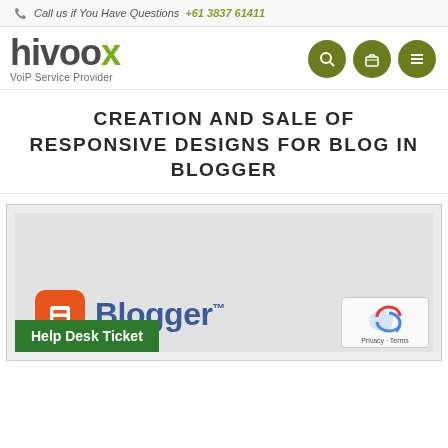Call us if You Have Questions +61 3837 61411
[Figure (logo): Hivoox VoIP Service Provider logo with navigation icons (search, cart, menu) in olive green circles]
CREATION AND SALE OF RESPONSIVE DESIGNS FOR BLOG IN BLOGGER
[Figure (screenshot): Blogger logo area with orange B icon and blue Blogger text, with Help Desk Ticket green button and reCAPTCHA badge]
Help Desk Ticket